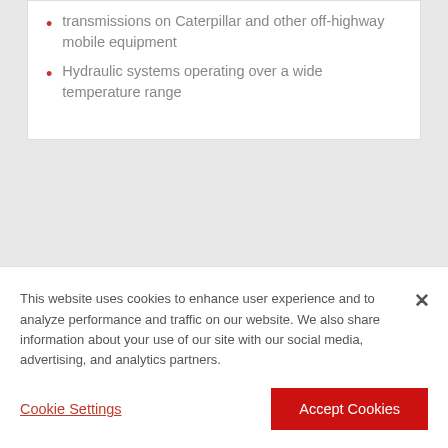transmissions on Caterpillar and other off-highway mobile equipment
Hydraulic systems operating over a wide temperature range
This website uses cookies to enhance user experience and to analyze performance and traffic on our website. We also share information about your use of our site with our social media, advertising, and analytics partners.
Cookie Settings
Accept Cookies